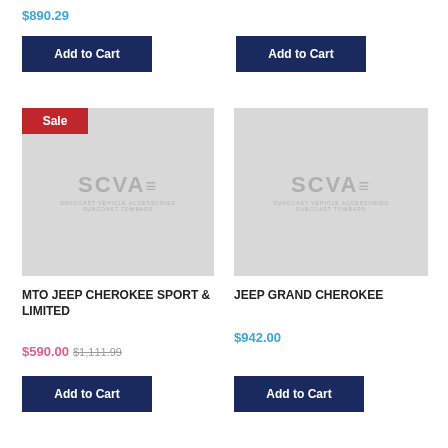$890.29
Add to Cart
Add to Cart
[Figure (logo): SCVA Suncoast Vehicle Accessories Suncoast Towbars placeholder image with Sale badge]
[Figure (logo): SCVA Suncoast Vehicle Accessories Suncoast Towbars placeholder image]
MTO JEEP CHEROKEE SPORT & LIMITED
JEEP GRAND CHEROKEE
$590.00  $1,111.99
$942.00
Add to Cart
Add to Cart